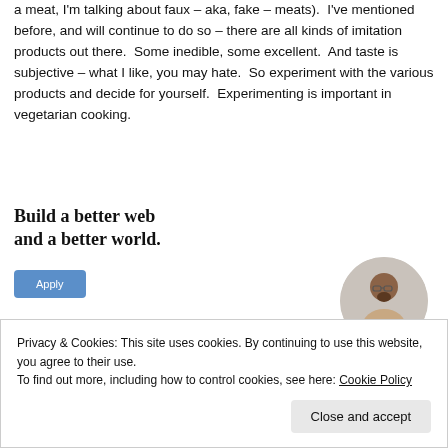a meat, I'm talking about faux – aka, fake – meats). I've mentioned before, and will continue to do so – there are all kinds of imitation products out there. Some inedible, some excellent. And taste is subjective – what I like, you may hate. So experiment with the various products and decide for yourself. Experimenting is important in vegetarian cooking.
[Figure (infographic): Advertisement banner: 'Build a better web and a better world.' with an Apply button and a photo of a person]
Privacy & Cookies: This site uses cookies. By continuing to use this website, you agree to their use.
To find out more, including how to control cookies, see here: Cookie Policy
Close and accept